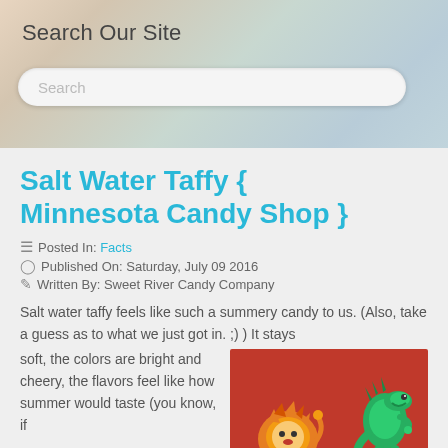Search Our Site
Search
Salt Water Taffy { Minnesota Candy Shop }
Posted In: Facts
Published On: Saturday, July 09 2016
Written By: Sweet River Candy Company
Salt water taffy feels like such a summery candy to us. (Also, take a guess as to what we just got in. ;) ) It stays soft, the colors are bright and cheery, the flavors feel like how summer would taste (you know, if
[Figure (photo): Photo of colorful candy figures on a red background — a yellow/orange lion-like figure and a green dinosaur-like figure made of salt water taffy.]